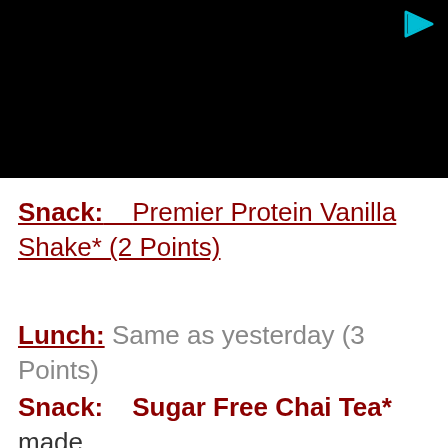[Figure (screenshot): Black video player area with a cyan/teal play button icon in the upper right corner]
Snack:    Premier Protein Vanilla Shake* (2 Points)
Lunch: Same as yesterday (3 Points)
Snack:    Sugar Free Chai Tea* made with 1 cup of Skim Milk (3 Points)